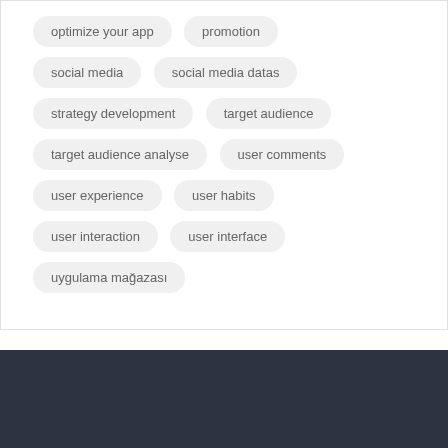optimize your app
promotion
social media
social media datas
strategy development
target audience
target audience analyse
user comments
user experience
user habits
user interaction
user interface
uygulama mağazası
[Figure (logo): Mobiroller logo with text 'build your own apps' on dark background]